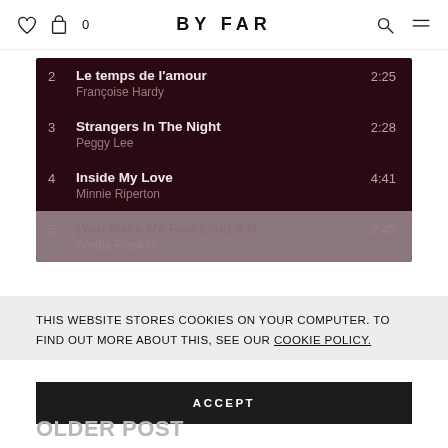BY FAR
2  Le temps de l'amour  2:25
Françoise Hardy
3  Strangers In The Night  2:28
Peggy Lee
4  Inside My Love  4:41
Minnie Riperton
5  (You Make Me Feel Like) A N...  2:45
Aretha Franklin
THIS WEBSITE STORES COOKIES ON YOUR COMPUTER. TO FIND OUT MORE ABOUT THIS, SEE OUR COOKIE POLICY.
ACCEPT
OLDER POST